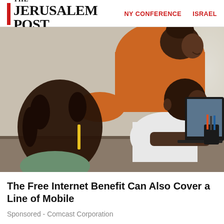THE JERUSALEM POST  NY CONFERENCE  ISRAEL
[Figure (photo): A woman in an orange top leaning over two children who are looking at a tablet/laptop screen on a desk. A girl with braids is in the foreground and a boy in a white shirt is reaching toward the screen.]
The Free Internet Benefit Can Also Cover a Line of Mobile
Sponsored - Comcast Corporation